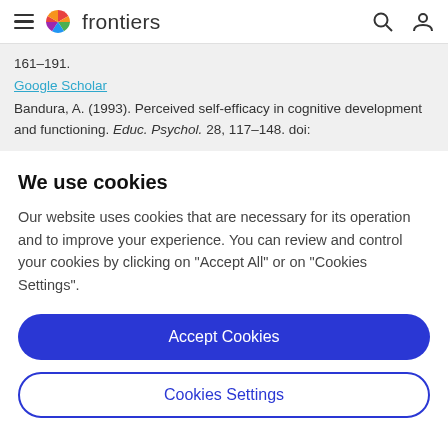frontiers
161–191.
Google Scholar
Bandura, A. (1993). Perceived self-efficacy in cognitive development and functioning. Educ. Psychol. 28, 117–148. doi:
We use cookies
Our website uses cookies that are necessary for its operation and to improve your experience. You can review and control your cookies by clicking on "Accept All" or on "Cookies Settings".
Accept Cookies
Cookies Settings